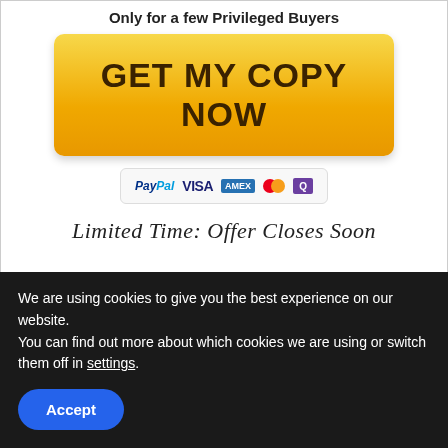[Figure (screenshot): Screenshot of a sales page with a yellow 'GET MY COPY NOW' button, payment icons (PayPal, Visa, Amex, Mastercard, and another), and handwritten text reading 'Limited Time: Offer Closes Soon'. Partial text at top reads 'Only for a few Privileged Buyers'.]
How to Claim My PodKastr Bonus?
1- Ensure that you clear cookies in your web
We are using cookies to give you the best experience on our website.
You can find out more about which cookies we are using or switch them off in settings.
Accept